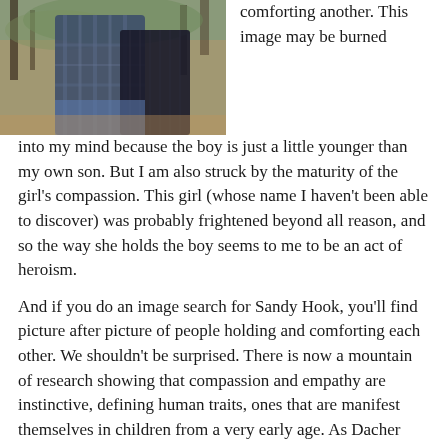[Figure (photo): A photo showing two figures outdoors, one comforting another, with trees and foliage in the background.]
comforting another. This image may be burned into my mind because the boy is just a little younger than my own son. But I am also struck by the maturity of the girl's compassion. This girl (whose name I haven't been able to discover) was probably frightened beyond all reason, and so the way she holds the boy seems to me to be an act of heroism.
And if you do an image search for Sandy Hook, you'll find picture after picture of people holding and comforting each other. We shouldn't be surprised. There is now a mountain of research showing that compassion and empathy are instinctive, defining human traits, ones that are manifest themselves in children from a very early age. As Dacher Kelter writes in "The Compassionate Instinct," the brain "seems wired up to respond to others' suffering—indeed, it